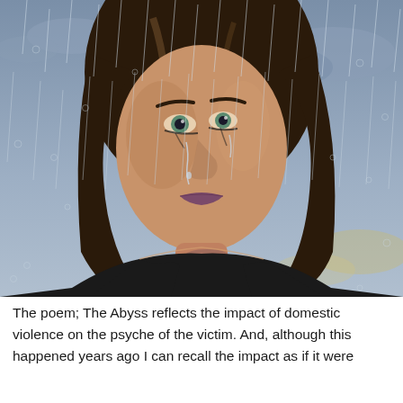[Figure (illustration): A digital illustration of a young woman with long dark hair standing in the rain. She has an emotional, distressed expression with tears on her cheeks and smeared eye makeup. She is wearing a black top. The background shows a stormy gray sky with rain streaks and circular rain droplets visible. The image has a painterly/digital art style.]
The poem; The Abyss reflects the impact of domestic violence on the psyche of the victim. And, although this happened years ago I can recall the impact as if it were